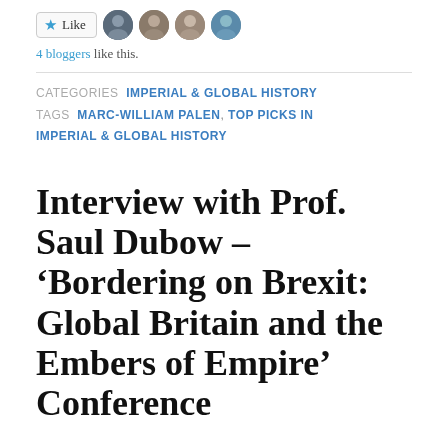[Figure (other): Like button with star icon and four blogger avatar photos]
4 bloggers like this.
CATEGORIES  IMPERIAL & GLOBAL HISTORY  TAGS  MARC-WILLIAM PALEN, TOP PICKS IN IMPERIAL & GLOBAL HISTORY
Interview with Prof. Saul Dubow – 'Bordering on Brexit: Global Britain and the Embers of Empire' Conference